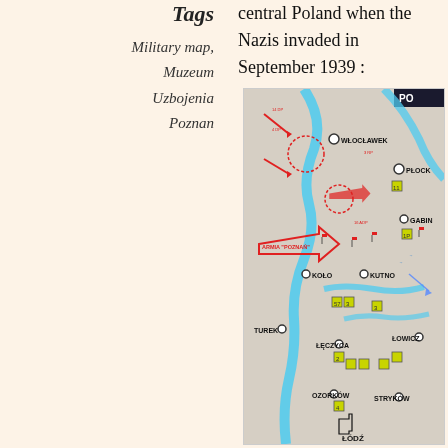Tags
Military map, Muzeum Uzbojenia Poznan
central Poland when the Nazis invaded in September 1939 :
[Figure (photo): Military map showing central Poland during the Nazi invasion of September 1939, with cities including Włocławek, Płock, Gabin, Koło, Kutno, Łowicz, Turek, Łęczyca, Ozorków, Stryków, and Łódź marked. Red arrows and symbols show troop movements and army positions including Armia Poznań. Map has blue river markings and yellow/green unit markers.]